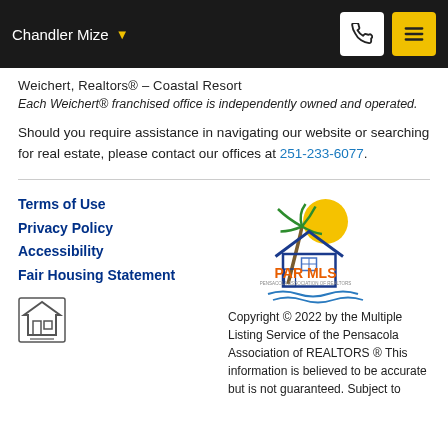Chandler Mize
Weichert, Realtors® – Coastal Resort
Each Weichert® franchised office is independently owned and operated.
Should you require assistance in navigating our website or searching for real estate, please contact our offices at 251-233-6077.
Terms of Use
Privacy Policy
Accessibility
Fair Housing Statement
[Figure (logo): PAR MLS – Pensacola Association of Realtors logo with palm tree, sun, and house]
Copyright © 2022 by the Multiple Listing Service of the Pensacola Association of REALTORS ® This information is believed to be accurate but is not guaranteed. Subject to